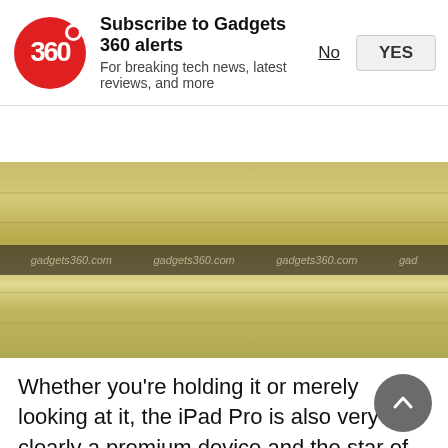[Figure (screenshot): Gadgets 360 push notification subscription banner with red circular logo, title 'Subscribe to Gadgets 360 alerts', subtitle 'For breaking tech news, latest reviews, and more', and two buttons: 'No' and 'YES']
[Figure (photo): Advertisement banner with wood-texture background in golden/tan color, with a dark horizontal stripe across the middle showing 'gadgets360.com' watermarks repeated]
Whether you're holding it or merely looking at it, the iPad Pro is also very clearly a premium device and the star of the tablet is clearly the 2732x2048 pixel 12.9-inch retina display. This is, beyond a doubt, one of the nicest tablet displays we have ever seen. The iPad Pro shines in a number of different ways, but nothing highlights the joy of the tablet more than reading digital comics on it - the iPads are great for reading books but